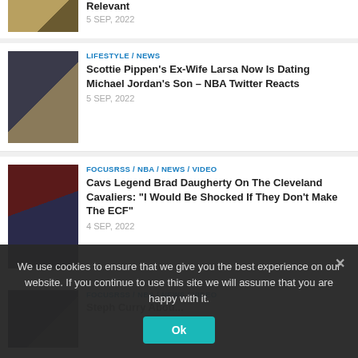Relevant
5 SEP, 2022
LIFESTYLE / NEWS
Scottie Pippen's Ex-Wife Larsa Now Is Dating Michael Jordan's Son – NBA Twitter Reacts
5 SEP, 2022
FOCUSRSS / NBA / NEWS / VIDEO
Cavs Legend Brad Daugherty On The Cleveland Cavaliers: “I Would Be Shocked If They Don’t Make The ECF”
4 SEP, 2022
FOCUSRSS / NBA / NEWS / VIDEO
We use cookies to ensure that we give you the best experience on our website. If you continue to use this site we will assume that you are happy with it.